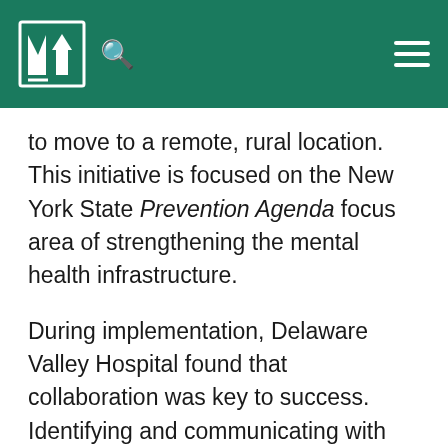New York State [logo] [search icon] [hamburger menu]
to move to a remote, rural location. This initiative is focused on the New York State Prevention Agenda focus area of strengthening the mental health infrastructure.
During implementation, Delaware Valley Hospital found that collaboration was key to success. Identifying and communicating with experts within the telehealth field and regulatory agencies was imperative. Their expertise was vital to ensuring pitfalls were